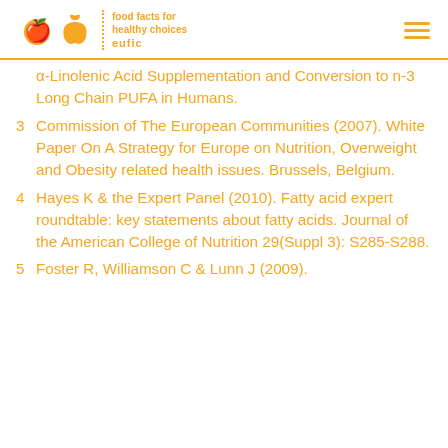eufic — food facts for healthy choices
α-Linolenic Acid Supplementation and Conversion to n-3 Long Chain PUFA in Humans.
3 Commission of The European Communities (2007). White Paper On A Strategy for Europe on Nutrition, Overweight and Obesity related health issues. Brussels, Belgium.
4 Hayes K & the Expert Panel (2010). Fatty acid expert roundtable: key statements about fatty acids. Journal of the American College of Nutrition 29(Suppl 3): S285-S288.
5 Foster R, Williamson C & Lunn J (2009).